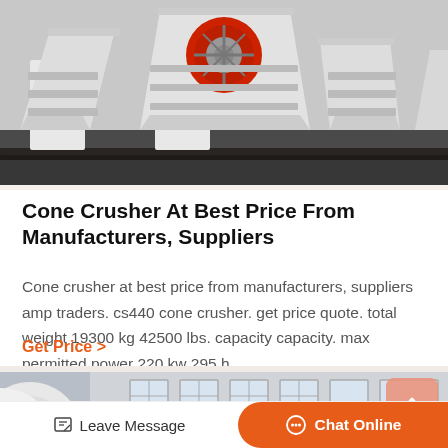[Figure (photo): Industrial cone crusher machine, white metal structure with red flywheel, outdoors on concrete surface]
Cone Crusher At Best Price From Manufacturers, Suppliers
Cone crusher at best price from manufacturers, suppliers amp traders. cs440 cone crusher. get price quote. total weight 19300 kg 42500 lbs. capacity capacity. max permitted power 220 kw 295 h…
Get Price  >
[Figure (photo): Large white industrial paper rolls stored outdoors near a building with windows]
Leave Message
Chat Online